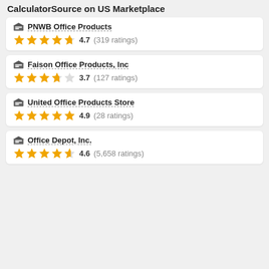CalculatorSource on US Marketplace
PNWB Office Products — 4.7 (319 ratings)
Faison Office Products, Inc — 3.7 (127 ratings)
United Office Products Store — 4.9 (28 ratings)
Office Depot, Inc. — 4.6 (5,658 ratings)